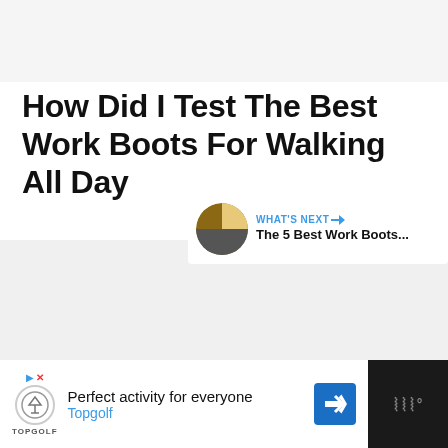How Did I Test The Best Work Boots For Walking All Day
A lot of people get curious about what is the actual testing process to choose the work boots recommended in this site, which is why we are always open to discuss what is the testing process.
[Figure (infographic): Like/heart button (blue circle with heart icon) with count of 8, and share button (gray circle with share icon) on the right side]
[Figure (infographic): What's Next card with thumbnail image and text 'The 5 Best Work Boots...']
[Figure (infographic): Advertisement bar at bottom: Topgolf ad with text 'Perfect activity for everyone Topgolf']